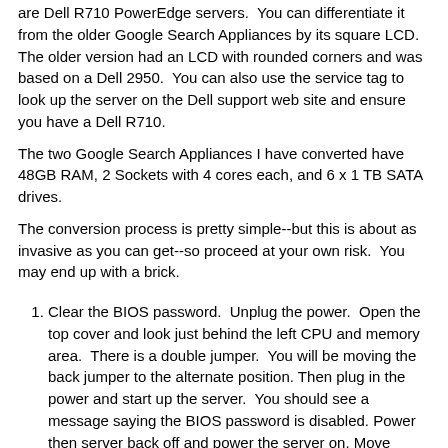are Dell R710 PowerEdge servers.  You can differentiate it from the older Google Search Appliances by its square LCD.  The older version had an LCD with rounded corners and was based on a Dell 2950.  You can also use the service tag to look up the server on the Dell support web site and ensure you have a Dell R710.
The two Google Search Appliances I have converted have 48GB RAM, 2 Sockets with 4 cores each, and 6 x 1 TB SATA drives.
The conversion process is pretty simple--but this is about as invasive as you can get--so proceed at your own risk.  You may end up with a brick.
Clear the BIOS password.  Unplug the power.  Open the top cover and look just behind the left CPU and memory area.  There is a double jumper.  You will be moving the back jumper to the alternate position. Then plug in the power and start up the server.  You should see a message saying the BIOS password is disabled. Power then server back off and power the server on. Move